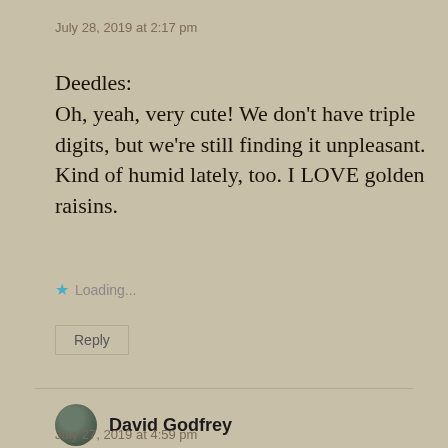July 28, 2019 at 2:17 pm
Deedles:
Oh, yeah, very cute! We don't have triple digits, but we're still finding it unpleasant. Kind of humid lately, too. I LOVE golden raisins.
Loading...
Reply
David Godfrey
July 27, 2019 at 4:59 pm